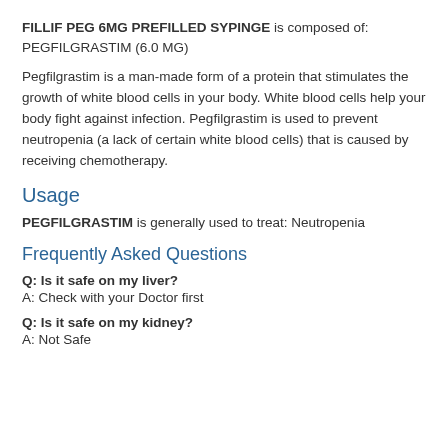FILLIF PEG 6MG PREFILLED SYPINGE is composed of: PEGFILGRASTIM (6.0 MG)
Pegfilgrastim is a man-made form of a protein that stimulates the growth of white blood cells in your body. White blood cells help your body fight against infection. Pegfilgrastim is used to prevent neutropenia (a lack of certain white blood cells) that is caused by receiving chemotherapy.
Usage
PEGFILGRASTIM is generally used to treat: Neutropenia
Frequently Asked Questions
Q: Is it safe on my liver?
A: Check with your Doctor first
Q: Is it safe on my kidney?
A: Not Safe